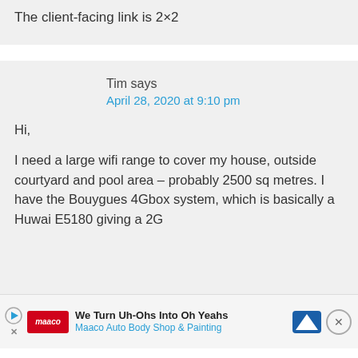The client-facing link is 2×2
Tim says
April 28, 2020 at 9:10 pm
Hi,

I need a large wifi range to cover my house, outside courtyard and pool area – probably 2500 sq metres. I have the Bouygues 4Gbox system, which is basically a Huwai E5180 giving a 2G
We Turn Uh-Ohs Into Oh Yeahs
Maaco Auto Body Shop & Painting